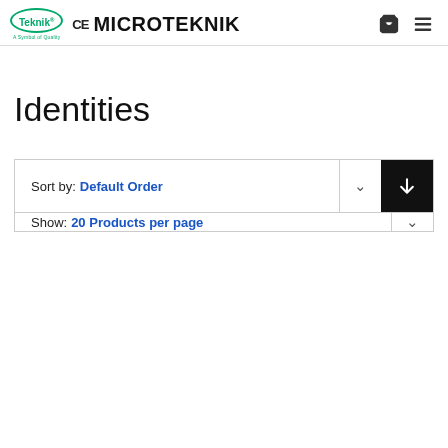Teknik CE MICROTEKNIK
Identities
Sort by: Default Order
Show: 20 Products per page